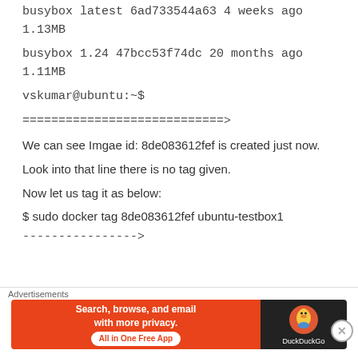busybox latest 6ad733544a63 4 weeks ago 1.13MB
busybox 1.24 47bcc53f74dc 20 months ago 1.11MB
vskumar@ubuntu:~$
=============================>
We can see Imgae id: 8de083612fef is created just now.
Look into that line there is no tag given.
Now let us tag it as below:
$ sudo docker tag 8de083612fef ubuntu-testbox1
--------------->
[Figure (screenshot): DuckDuckGo advertisement banner: orange section with text 'Search, browse, and email with more privacy. All in One Free App' and dark section with DuckDuckGo logo]